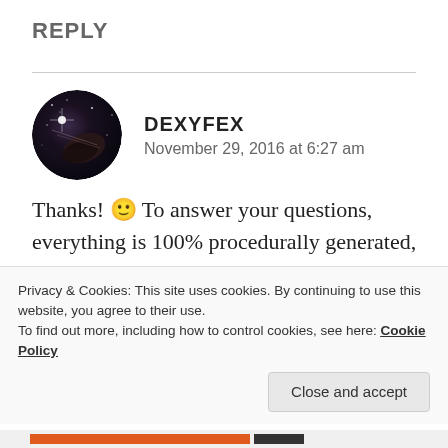REPLY
[Figure (illustration): Circular avatar image of a galaxy/space scene with dark cosmic background and light streaks]
DEXYFEX
November 29, 2016 at 6:27 am
Thanks! 🙂 To answer your questions, everything is 100% procedurally generated, which is why the download is so small. So yes, the galaxies are completely procedurally generated. I'm still undecided about open-sourcing the whole program, because at the current stage I
Privacy & Cookies: This site uses cookies. By continuing to use this website, you agree to their use.
To find out more, including how to control cookies, see here: Cookie Policy
Close and accept